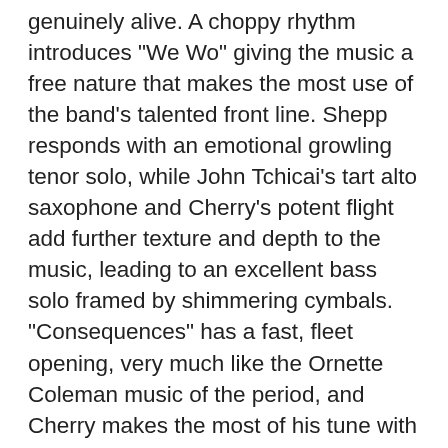genuinely alive. A choppy rhythm introduces "We Wo" giving the music a free nature that makes the most use of the band's talented front line. Shepp responds with an emotional growling tenor solo, while John Tchicai's tart alto saxophone and Cherry's potent flight add further texture and depth to the music, leading to an excellent bass solo framed by shimmering cymbals. "Consequences" has a fast, fleet opening, very much like the Ornette Coleman music of the period, and Cherry makes the most of his tune with an explosive trumpet solo played at a super fast tempo. Shepp throws in a pop song quote and then dives in enthusiastically, with raw squalls of tenor. Tchicai's alto has a snake charmer's allure with a hint of Eric Dolphy, encouraged by agile bass and drum work. Shepp's "Rufus" has a complex full band theme, with very interesting rhythms, including thick bass woven through the drumming. The horns get plenty of of room to improvise in space, developing